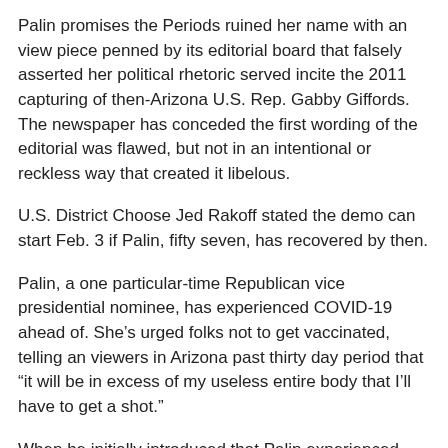Palin promises the Periods ruined her name with an view piece penned by its editorial board that falsely asserted her political rhetoric served incite the 2011 capturing of then-Arizona U.S. Rep. Gabby Giffords. The newspaper has conceded the first wording of the editorial was flawed, but not in an intentional or reckless way that created it libelous.
U.S. District Choose Jed Rakoff stated the demo can start Feb. 3 if Palin, fifty seven, has recovered by then.
Palin, a one particular-time Republican vice presidential nominee, has experienced COVID-19 ahead of. She’s urged folks not to get vaccinated, telling an viewers in Arizona past thirty day period that “it will be in excess of my useless entire body that I’ll have to get a shot.”
When he initially introduced that Palin experienced gotten a optimistic outcome from an at-house check, Rakoff stated: “She is, of system, unvaccinated.”